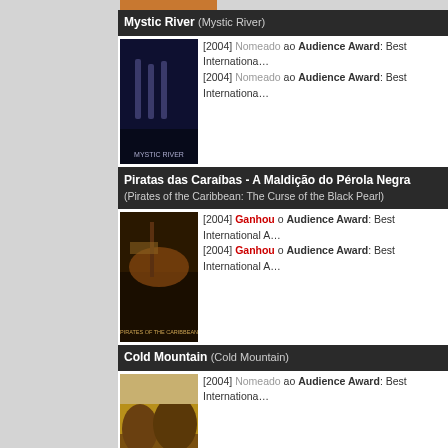Mystic River (Mystic River)
[2004] Nomeado ao Audience Award: Best International A...
[2004] Nomeado ao Audience Award: Best International A...
[Figure (photo): Mystic River movie poster]
Piratas das Caraíbas - A Maldição do Pérola Negra (Pirates of the Caribbean: The Curse of the Black Pearl)
[2004] Ganhou o Audience Award: Best International A...
[2004] Ganhou o Audience Award: Best International A...
[Figure (photo): Pirates of the Caribbean movie poster]
Cold Mountain (Cold Mountain)
[2004] Nomeado ao Audience Award: Best Internationa...
[Figure (photo): Cold Mountain movie poster]
Shrek 2 (Shrek 2)
[2004] Nomeado ao Audience Award: Best Internationa...
[Figure (photo): Shrek 2 movie poster]
Voltar ao topo ↑